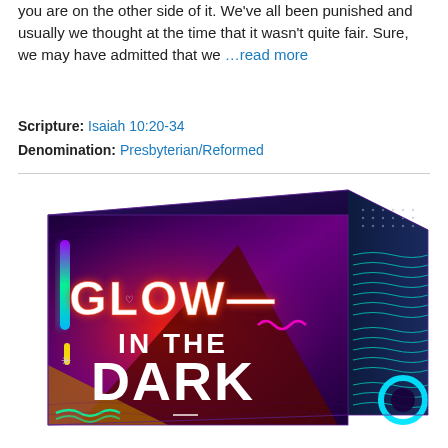you are on the other side of it. We've all been punished and usually we thought at the time that it wasn't quite fair. Sure, we may have admitted that we …read more
Scripture: Isaiah 10:20-34
Denomination: Presbyterian/Reformed
[Figure (photo): A colorful neon-styled product box with the text 'GLOW IN THE DARK' on a dark purple/red background with geometric shapes and glowing effects.]